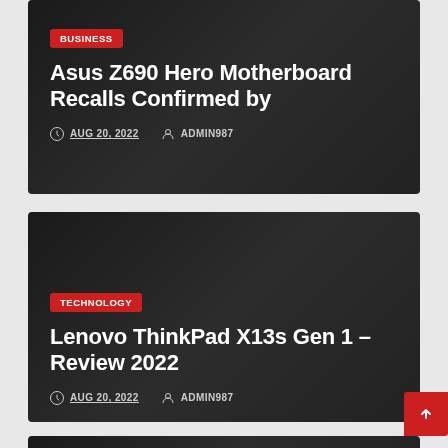BUSINESS
Asus Z690 Hero Motherboard Recalls Confirmed by
AUG 20, 2022  ADMIN987
TECHNOLOGY
Lenovo ThinkPad X13s Gen 1 – Review 2022
AUG 20, 2022  ADMIN987